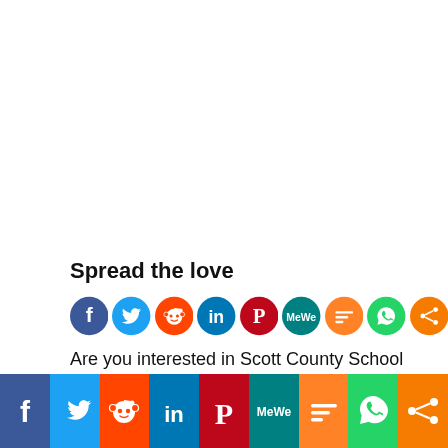Spread the love
[Figure (infographic): Row of social media share icons: Facebook (blue), Twitter (light blue), Reddit (orange-red), LinkedIn (blue), Pinterest (dark red), MeWe (teal), Mix (orange), WhatsApp (green), Share (orange)]
Are you interested in Scott County School
[Figure (infographic): Bottom social sharing bar with colored strips for Facebook, Twitter, Reddit, LinkedIn, Pinterest, MeWe, Mix, WhatsApp, Share]